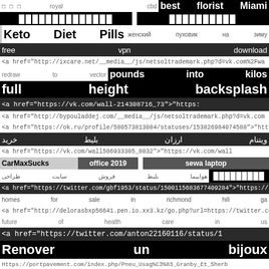□ □ □   royal   cbd   best  florist  Miami
░░░░░░░░░░░░░░   ░░░░░░░░░░
Keto  Diet  Pills   женский  пуховик  на  зиму
free              vpn              download
<a href="http://ixcare.net/__media__/js/netsoltrademark.php?d=vk.com%2Fwa
redraw   to   vector   pounds   into   kilos
full          height          backsplash
<a href="https://vk.com/wall-214308716_73">"https:
<a href="http://bypouladdej.com/__media__/js/netsoltrademark.php?d=vk.com
<a href="https://ok.ru/profile/580573813084/statuses/153826984074588">"htt
خرید  بلیط  ارزان  ویتنام
<a href="https://vk.com/wall506933305_8032">"https://vk.com/wall
CarMaxSucks    office  2019    sewa   laptop
طراحی سایت فروش بلیط هواپیما   ░░░░░░░░░
<a href="https://twitter.com/gbf1953/status/1500115683677409284">"https://tv
homes   for   sale   in   richmond   hill   ga
<a href="http://delorasbxp56641.pen.io.xx3.kz/go.php?url=https://twitter.com/P
future    of    health    care    in    us
<a href="https://twitter.com/anton22160116/status/1
Renover         un         bijoux
Https://portpavement.com/index.php/Pneu_Usag%C3%83_Granby_Et_Sherb
youtube      smm      panel   ░░░░░